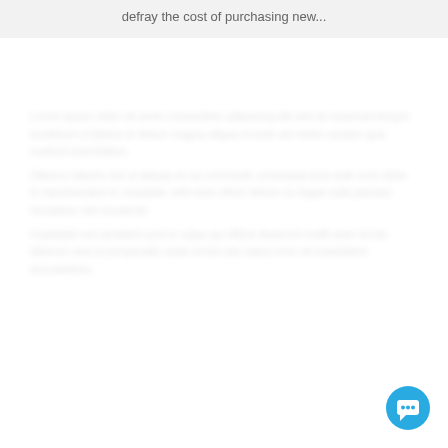defray the cost of purchasing new...
[Figure (other): Blurred/redacted body text content below the header bar]
[Figure (other): Blue circular chat/message button in bottom-right corner]